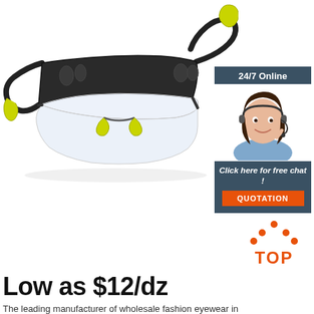[Figure (photo): Sports/safety glasses with black frame and yellow-green accents, clear lenses, shown at an angle on white background]
[Figure (infographic): Customer service chat widget: dark teal/slate header '24/7 Online', photo of smiling female customer service rep with headset, footer with italic text 'Click here for free chat!' and orange QUOTATION button]
[Figure (logo): TOP logo with orange dots forming a triangle/hat shape above the word TOP in orange]
Low as $12/dz
The leading manufacturer of wholesale fashion eyewear in